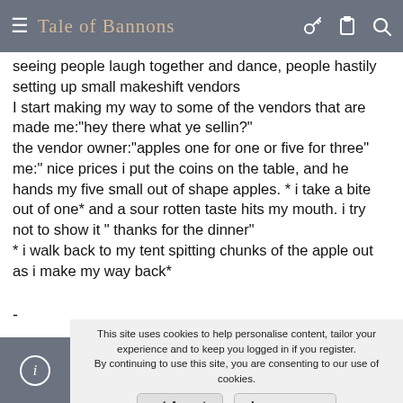Tale of Bannons
seeing people laugh together and dance, people hastily setting up small makeshift vendors
I start making my way to some of the vendors that are made me:"hey there what ye sellin?"
the vendor owner:"apples one for one or five for three"
me:" nice prices i put the coins on the table, and he hands my five small out of shape apples. * i take a bite out of one* and a sour rotten taste hits my mouth. i try not to show it " thanks for the dinner"
* i walk back to my tent spitting chunks of the apple out as i make my way back*
-
This site uses cookies to help personalise content, tailor your experience and to keep you logged in if you register.
By continuing to use this site, you are consenting to our use of cookies.